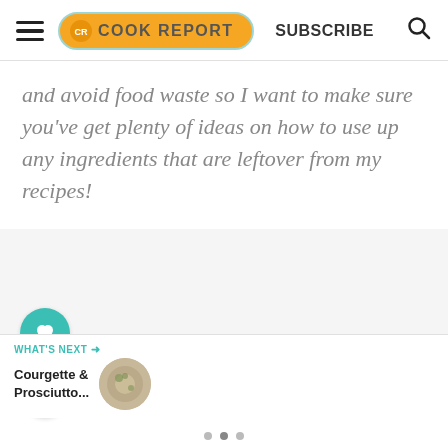COOK REPORT  SUBSCRIBE
and avoid food waste so I want to make sure you've get plenty of ideas on how to use up any ingredients that are leftover from my recipes!
[Figure (screenshot): Gray placeholder card area]
[Figure (infographic): Heart (favorite) button - teal circle with heart icon]
[Figure (infographic): Share button - white circle with share icon]
WHAT'S NEXT → Courgette & Prosciutto...